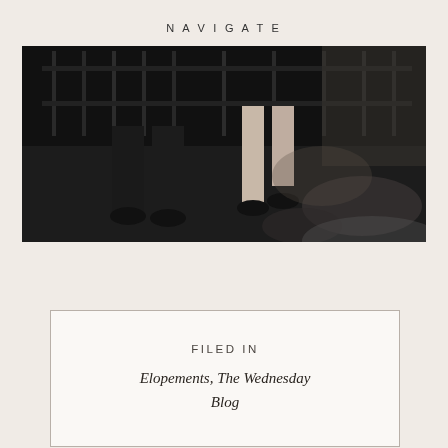NAVIGATE
[Figure (photo): Black and white photograph showing legs and feet of two people near an iron fence on grass]
FILED IN
Elopements, The Wednesday Blog